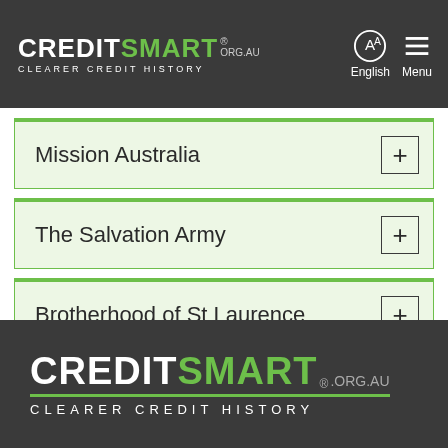CREDITSMART.ORG.AU — CLEARER CREDIT HISTORY
Mission Australia
The Salvation Army
Brotherhood of St Laurence
CREDITSMART.ORG.AU — CLEARER CREDIT HISTORY